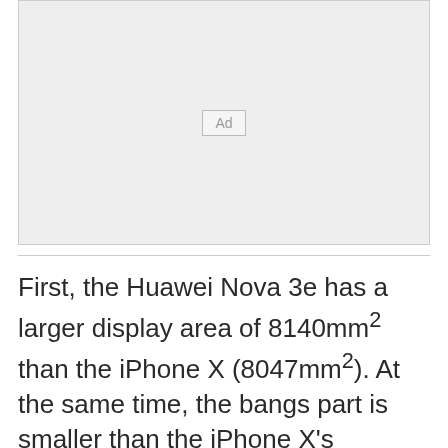[Figure (other): Advertisement placeholder box with 'Ad' label in center]
First, the Huawei Nova 3e has a larger display area of 8140mm² than the iPhone X (8047mm²). At the same time, the bangs part is smaller than the iPhone X's corresponding part. Moreover, the company continues focusing on high value and double-glazed